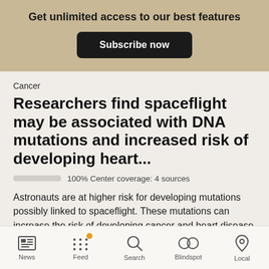Get unlimited access to our best features
Subscribe now
Cancer
Researchers find spaceflight may be associated with DNA mutations and increased risk of developing heart...
100% Center coverage: 4 sources
Astronauts are at higher risk for developing mutations possibly linked to spaceflight. These mutations can increase the risk of developing cancer and heart disease during their lifetimes. A team of researchers collected blood samples from National Aeronautics and Space Administration (NASA) astronauts who flew space shuttle
News  Feed  Search  Blindspot  Local